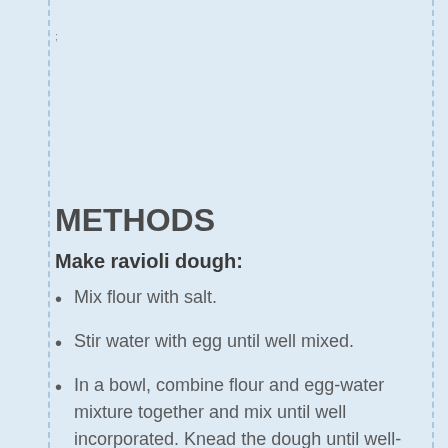;
METHODS
Make ravioli dough:
Mix flour with salt.
Stir water with egg until well mixed.
In a bowl, combine flour and egg-water mixture together and mix until well incorporated. Knead the dough until well-textured and firm. The dough should not be too wet or too sticky. It should only stick to itself, but not to your hands. However, it should not be too dry, either. Make the dough into a ball, cover with plastic wrap. Let the dough stand for